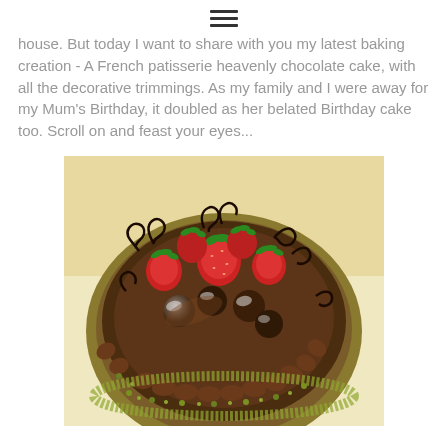≡
house. But today I want to share with you my latest baking creation - A French patisserie heavenly chocolate cake, with all the decorative trimmings.  As my family and I were away for my Mum's Birthday, it doubled as her belated Birthday cake too. Scroll on and feast your eyes...
[Figure (photo): A top-down view of a decorated French patisserie chocolate cake with chocolate ganache, piped chocolate buttercream swirls around the edge, fresh strawberries with green tops, chocolate truffles dusted with powdered sugar, dark chocolate decorative curls/spirals, and a border of crushed pistachios around the base. The cake is photographed from above on a white surface.]